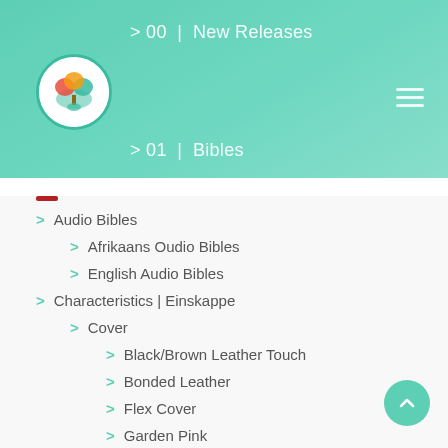[Figure (logo): Circular logo with colorful tree/globe design on white background with teal border]
> 00 | New Releases
> 01 | Bibles
> Audio Bibles
> Afrikaans Oudio Bibles
> English Audio Bibles
> Characteristics | Einskappe
> Cover
> Black/Brown Leather Touch
> Bonded Leather
> Flex Cover
> Garden Pink
> Genuine Leather | Egte Leer
> Hard Cover | Hardeband
> Imitation Leather